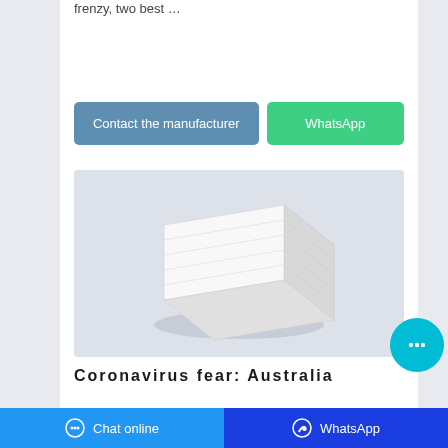frenzy, two best …
[Figure (other): Two call-to-action buttons: 'Contact the manufacturer' in steel blue and 'WhatsApp' in green]
[Figure (photo): Product photo of a white stack of tissue/paper napkins on a light blue-grey background]
Coronavirus fear: Australia
[Figure (other): Cyan circular chat bubble icon in bottom right]
Chat online   WhatsApp